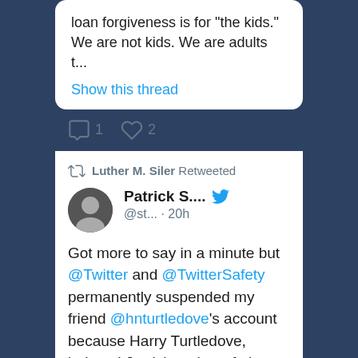loan forgiveness is for "the kids." We are not kids. We are adults t...
Show this thread
1  2
Luther M. Siler Retweeted
Patrick S.... @st... · 20h
Got more to say in a minute but @Twitter and @TwitterSafety permanently suspended my friend @hnturtledove's account because Harry Turtledove, beloved Jewish author of alt-history novels, told a literal Nazi to go fuck himself.